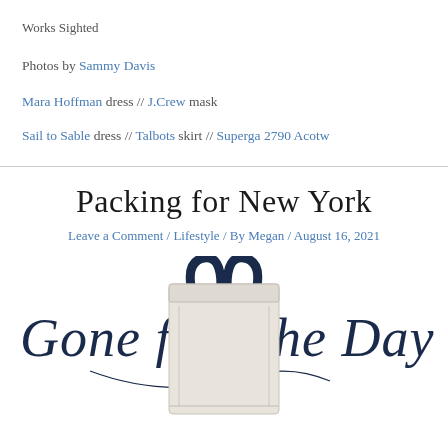Works Sighted
Photos by Sammy Davis
Mara Hoffman dress // J.Crew mask
Sail to Sable dress // Talbots skirt // Superga 2790 Acotw
Packing for New York
Leave a Comment / Lifestyle / By Megan / August 16, 2021
[Figure (illustration): Cream/white canvas tote bag with dark navy handles, overlaid with italic script text reading 'Gone for the Day']